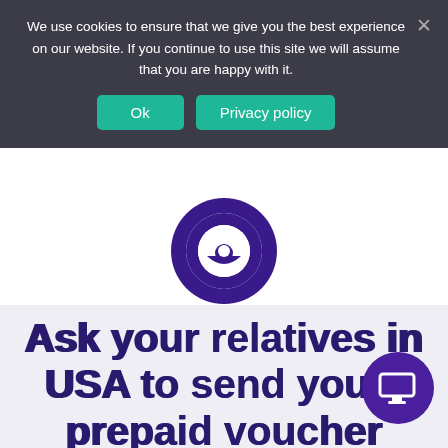We use cookies to ensure that we give you the best experience on our website. If you continue to use this site we will assume that you are happy with it.
Ok  Privacy policy
[Figure (logo): Purple circular logo with white smiley face eye icon (OKY brand logo)]
Ask your relatives in USA to send you a prepaid voucher through OKY
[Figure (illustration): Purple circular chat/help button with white monitor/screen icon, bottom right corner]